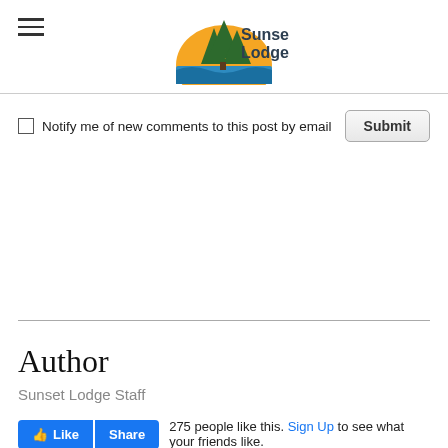[Figure (logo): Sunset Lodge logo with pine trees and sunset]
Notify me of new comments to this post by email
Submit
Author
Sunset Lodge Staff
275 people like this. Sign Up to see what your friends like.